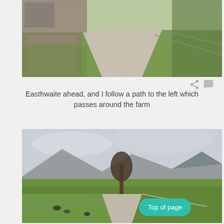[Figure (photo): Gravel path leading to a farm with stone buildings and stone walls on the left, green grass on both sides, and trees in the background.]
Easthwaite ahead, and I follow a path to the left which passes around the farm
[Figure (photo): Wide landscape view of a green valley with a gravel path leading through fields, a bare tree in the center, mountains in the background under a cloudy sky, and cows grazing. A teal 'Top of page' button overlays the bottom right.]